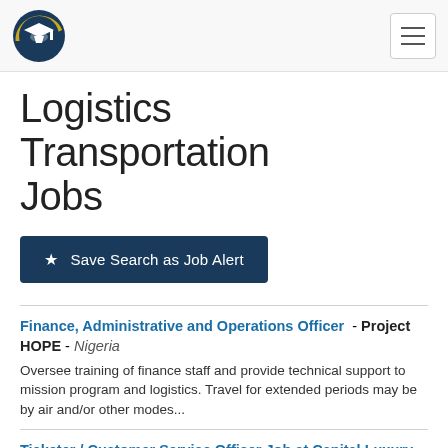Navigation bar with logo and hamburger menu
Logistics Transportation Jobs
★ Save Search as Job Alert
Finance, Administrative and Operations Officer - Project HOPE - Nigeria
Oversee training of finance staff and provide technical support to mission program and logistics. Travel for extended periods may be by air and/or other modes...
Ticketer / Customer Service Officer Job at Capital Luxury - Capital Luxury - Abuja